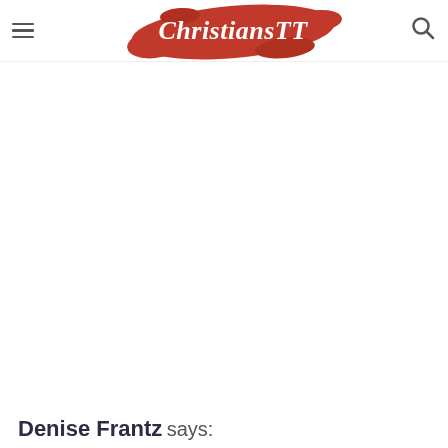ChristiansTT
Denise Frantz says: